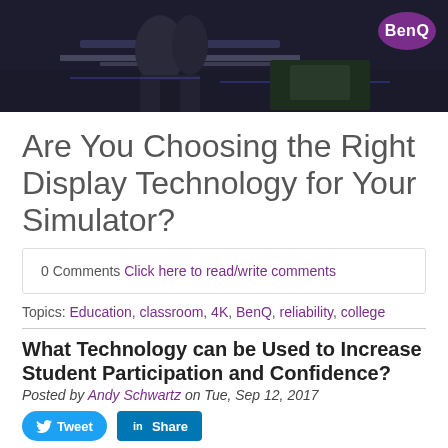[Figure (photo): Dark colored simulator or classroom environment with BenQ logo in purple circle top right]
Are You Choosing the Right Display Technology for Your Simulator?
0 Comments Click here to read/write comments
Topics: Education, classroom, 4K, BenQ, reliability, college
What Technology can be Used to Increase Student Participation and Confidence?
Posted by Andy Schwartz on Tue, Sep 12, 2017
[Figure (photo): Multiple raised hands against light blue background]